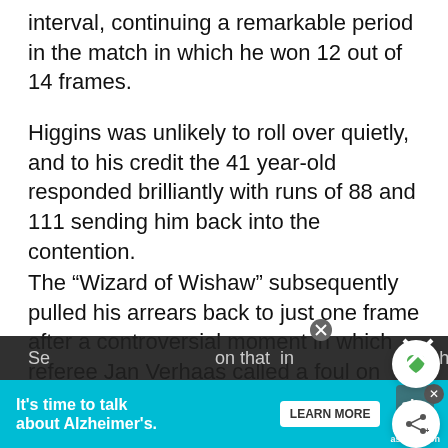interval, continuing a remarkable period in the match in which he won 12 out of 14 frames.
Higgins was unlikely to roll over quietly, and to his credit the 41 year-old responded brilliantly with runs of 88 and 111 sending him back into the contention.
The “Wizard of Wishaw” subsequently pulled his arrears back to just one frame after a controversial moment in which referee Jan Verhaas called a foul on Selby, insisting the cueball failed to touch the black despite video evidence appearing to prove that it did.
Se... in... (partially visible bottom text)